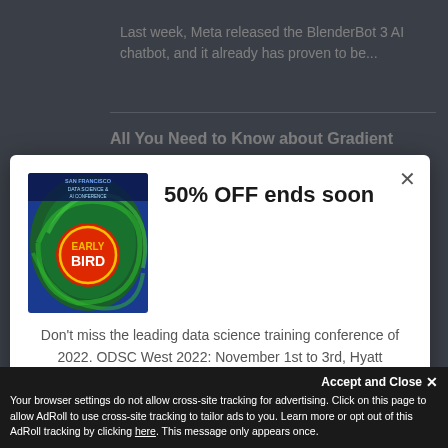Last week, Meta released the BlenderBot 3 AI chatbot, and it already has proven to be...
All You Need to Know about Gradient
[Figure (illustration): ODSC West 2022 Early Bird conference badge with green swirl background and red/yellow badge]
50% OFF ends soon
Don't miss the leading data science training conference of 2022. ODSC West 2022: November 1st to 3rd, Hyatt Regency, South San Francisco
For VIRTUAL passes please check HERE. For IN-PERSON passes please click below.
REGISTER NOW
Accept and Close ✕
Your browser settings do not allow cross-site tracking for advertising. Click on this page to allow AdRoll to use cross-site tracking to tailor ads to you. Learn more or opt out of this AdRoll tracking by clicking here. This message only appears once.